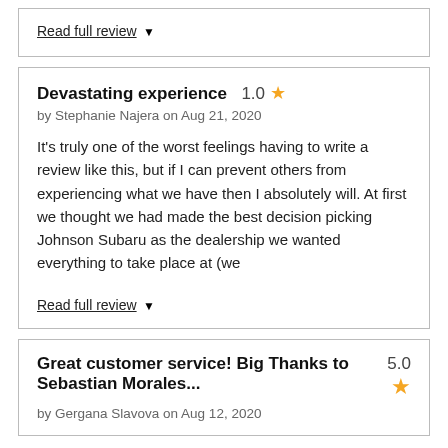Read full review ▼
Devastating experience  1.0 ★
by Stephanie Najera on Aug 21, 2020
It's truly one of the worst feelings having to write a review like this, but if I can prevent others from experiencing what we have then I absolutely will. At first we thought we had made the best decision picking Johnson Subaru as the dealership we wanted everything to take place at (we
Read full review ▼
Great customer service! Big Thanks to Sebastian Morales...  5.0 ★
by Gergana Slavova on Aug 12, 2020